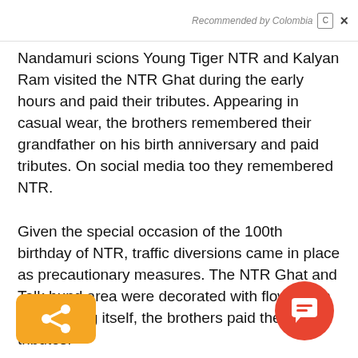Recommended by Colombia  ×
Nandamuri scions Young Tiger NTR and Kalyan Ram visited the NTR Ghat during the early hours and paid their tributes. Appearing in casual wear, the brothers remembered their grandfather on his birth anniversary and paid tributes. On social media too they remembered NTR.
Given the special occasion of the 100th birthday of NTR, traffic diversions came in place as precautionary measures. The NTR Ghat and Talk bund area were decorated with flowers. In the morning itself, the brothers paid their tributes.
Both NTR and Kalyan Ram have high respect a... towards their grandfather NTR. Young Tiger NTR was fortunate enough to share the name with Sr...